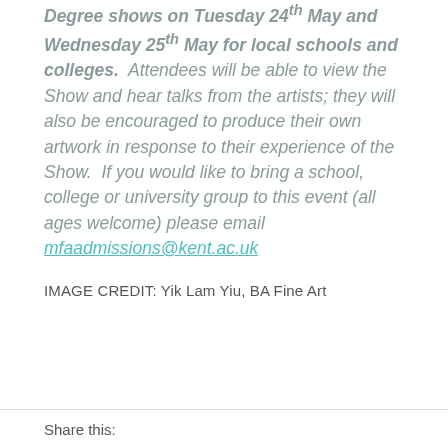Degree shows on Tuesday 24th May and Wednesday 25th May for local schools and colleges. Attendees will be able to view the Show and hear talks from the artists; they will also be encouraged to produce their own artwork in response to their experience of the Show. If you would like to bring a school, college or university group to this event (all ages welcome) please email mfaadmissions@kent.ac.uk
IMAGE CREDIT: Yik Lam Yiu, BA Fine Art
Share this: